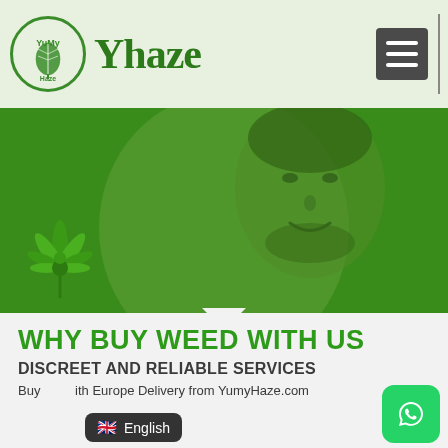Yhaze
[Figure (photo): Hero banner with green background showing a man's face overlaid with a green tint, cannabis plant in lower left corner]
WHY BUY WEED WITH US
DISCREET AND RELIABLE SERVICES
Buy [weed] with Europe Delivery from YumyHaze.com